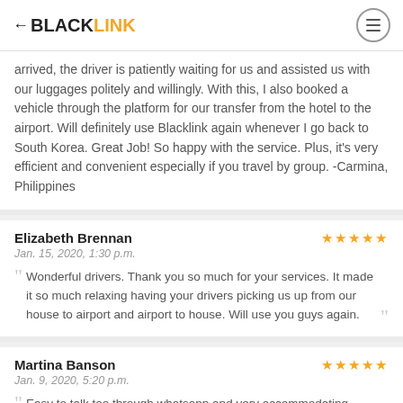BLACKLINK
arrived, the driver is patiently waiting for us and assisted us with our luggages politely and willingly. With this, I also booked a vehicle through the platform for our transfer from the hotel to the airport. Will definitely use Blacklink again whenever I go back to South Korea. Great Job! So happy with the service. Plus, it's very efficient and convenient especially if you travel by group. -Carmina, Philippines
Elizabeth Brennan — Jan. 15, 2020, 1:30 p.m. — ★★★★★
Wonderful drivers. Thank you so much for your services. It made it so much relaxing having your drivers picking us up from our house to airport and airport to house. Will use you guys again.
Martina Banson — Jan. 9, 2020, 5:20 p.m. — ★★★★★
Easy to talk too through whatsapp and very accommodating when it comes to requests.